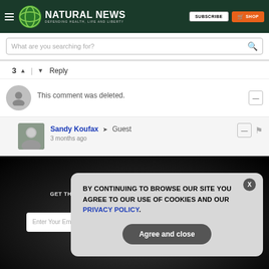Natural News — Defending Health, Life and Liberty
What are you searching for?
3 | Reply
This comment was deleted.
Sandy Koufax → Guest
3 months ago
GET THE WORLD'S BEST NATURAL HEALTH NEWSLETTER DELIVERED STRAIGHT TO YOUR INBOX
Enter Your Email Address
BY CONTINUING TO BROWSE OUR SITE YOU AGREE TO OUR USE OF COOKIES AND OUR PRIVACY POLICY.
Agree and close